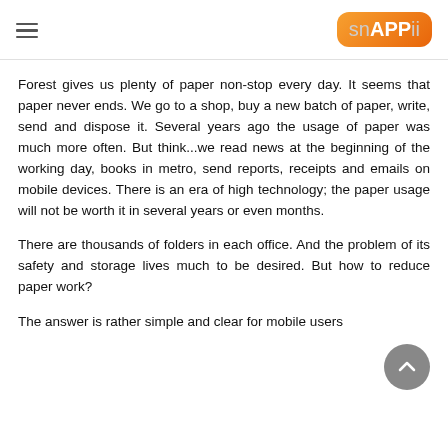snAPPii
Forest gives us plenty of paper non-stop every day. It seems that paper never ends. We go to a shop, buy a new batch of paper, write, send and dispose it. Several years ago the usage of paper was much more often. But think...we read news at the beginning of the working day, books in metro, send reports, receipts and emails on mobile devices. There is an era of high technology; the paper usage will not be worth it in several years or even months.
There are thousands of folders in each office. And the problem of its safety and storage lives much to be desired. But how to reduce paper work?
The answer is rather simple and clear for mobile users